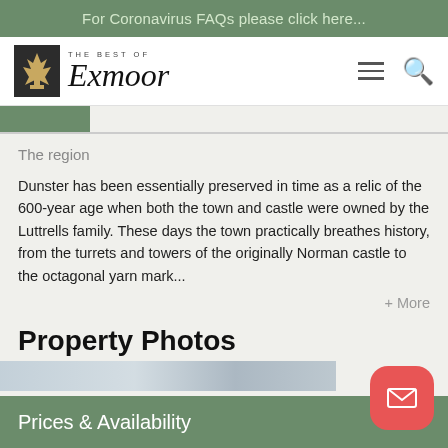For Coronavirus FAQs please click here...
[Figure (logo): The Best of Exmoor logo with deer silhouette and script text]
The region
Dunster has been essentially preserved in time as a relic of the 600-year age when both the town and castle were owned by the Luttrells family. These days the town practically breathes history, from the turrets and towers of the originally Norman castle to the octagonal yarn mark...
+ More
Property Photos
Prices & Availability